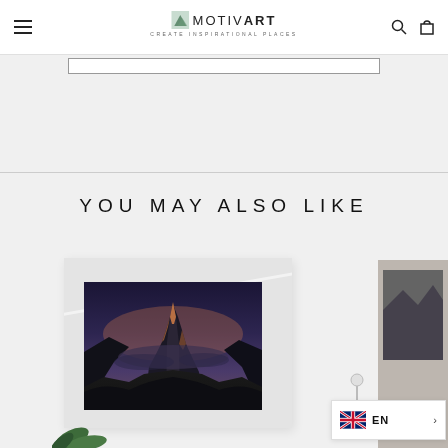MotivArt — Create Inspirational Places
YOU MAY ALSO LIKE
[Figure (photo): Product showcase of a mountain landscape canvas print displayed on a wall mockup, with partial view of another product on the right and plant/leaf decorations]
EN